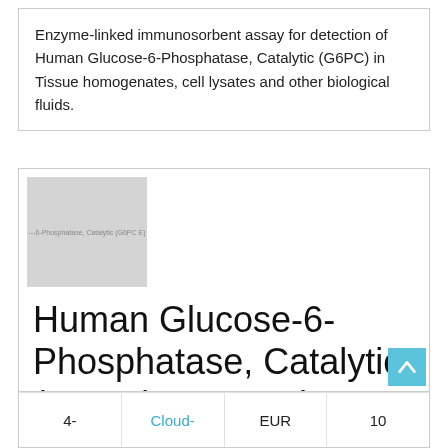Enzyme-linked immunosorbent assay for detection of Human Glucose-6-Phosphatase, Catalytic (G6PC) in Tissue homogenates, cell lysates and other biological fluids.
[Figure (photo): Product image placeholder showing text 'Glucose-6-Phosphatase, Catalytic (G6PC E)' on a grey background]
Human Glucose-6-Phosphatase, Catalytic (G6PC) ELISA Kit
| 4- | Cloud- | EUR | 10 |
| --- | --- | --- | --- |